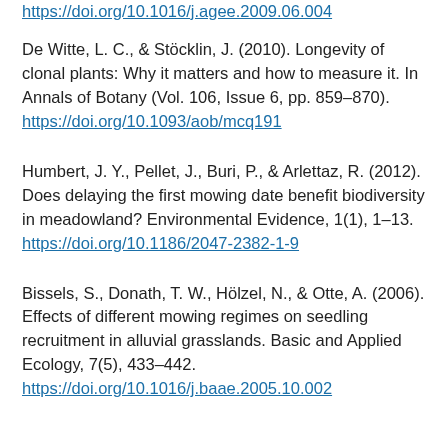https://doi.org/10.1016/j.agee.2009.06.004
De Witte, L. C., & Stöcklin, J. (2010). Longevity of clonal plants: Why it matters and how to measure it. In Annals of Botany (Vol. 106, Issue 6, pp. 859–870).
https://doi.org/10.1093/aob/mcq191
Humbert, J. Y., Pellet, J., Buri, P., & Arlettaz, R. (2012). Does delaying the first mowing date benefit biodiversity in meadowland? Environmental Evidence, 1(1), 1–13.
https://doi.org/10.1186/2047-2382-1-9
Bissels, S., Donath, T. W., Hölzel, N., & Otte, A. (2006). Effects of different mowing regimes on seedling recruitment in alluvial grasslands. Basic and Applied Ecology, 7(5), 433–442.
https://doi.org/10.1016/j.baae.2005.10.002